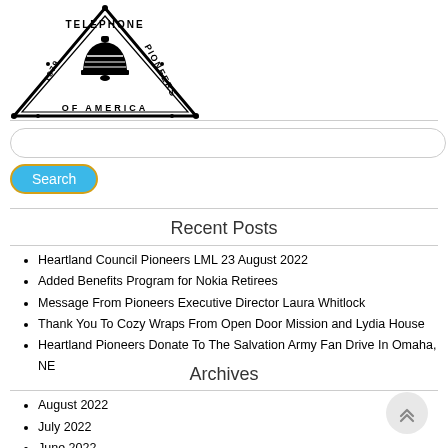[Figure (logo): Telephone Pioneers of America triangular logo with a bell in the center. Text around the triangle reads TELEPHONE PIONEERS OF AMERICA with years 1879 and 1911.]
Search (input field and button)
Recent Posts
Heartland Council Pioneers LML 23 August 2022
Added Benefits Program for Nokia Retirees
Message From Pioneers Executive Director Laura Whitlock
Thank You To Cozy Wraps From Open Door Mission and Lydia House
Heartland Pioneers Donate To The Salvation Army Fan Drive In Omaha, NE
Archives
August 2022
July 2022
June 2022
April 2022